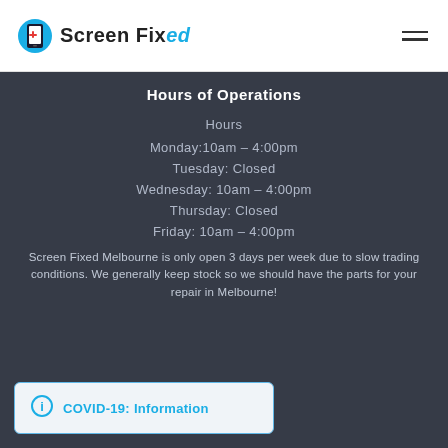Screen Fixed
Hours of Operations
Hours
Monday:10am – 4:00pm
Tuesday: Closed
Wednesday: 10am – 4:00pm
Thursday: Closed
Friday: 10am – 4:00pm
Screen Fixed Melbourne is only open 3 days per week due to slow trading conditions. We generally keep stock so we should have the parts for your repair in Melbourne!
COVID-19: Information